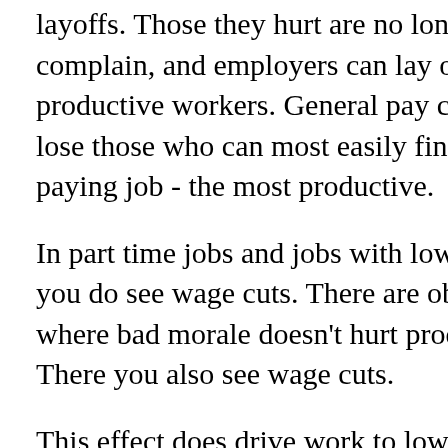layoffs. Those they hurt are no longer around to complain, and employers can lay off there least productive workers. General pay cuts tend to lose those who can most easily find a better paying job - the most productive.
In part time jobs and jobs with low autonomy, you do see wage cuts. There are obviously jobs where bad morale doesn't hurt productivity. There you also see wage cuts.
This effect does drive work to lower wage countries.
BTW I'd like to thank you for